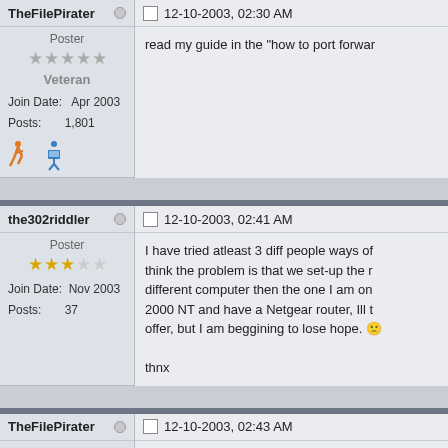TheFilePirater — 12-10-2003, 02:30 AM
Poster — Veteran — Join Date: Apr 2003 — Posts: 1,801
read my guide in the "how to port forwar..."
the302riddler — 12-10-2003, 02:41 AM
Poster — Join Date: Nov 2003 — Posts: 37
I have tried atleast 3 diff people ways of... think the problem is that we set-up the r... different computer then the one I am on... 2000 NT and have a Netgear router, Ill t... offer, but I am beggining to lose hope. :( thnx
TheFilePirater — 12-10-2003, 02:43 AM
Poster — call up netgear and ask what the Gatew...